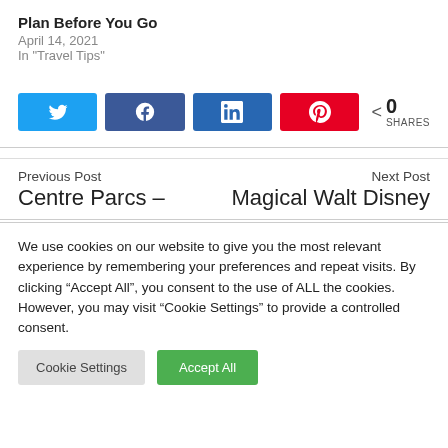Plan Before You Go
April 14, 2021
In "Travel Tips"
[Figure (other): Social share buttons: Twitter, Facebook, LinkedIn, Pinterest, and a share count showing 0 SHARES]
Previous Post
Centre Parcs –
Next Post
Magical Walt Disney
We use cookies on our website to give you the most relevant experience by remembering your preferences and repeat visits. By clicking “Accept All”, you consent to the use of ALL the cookies. However, you may visit “Cookie Settings” to provide a controlled consent.
Cookie Settings | Accept All